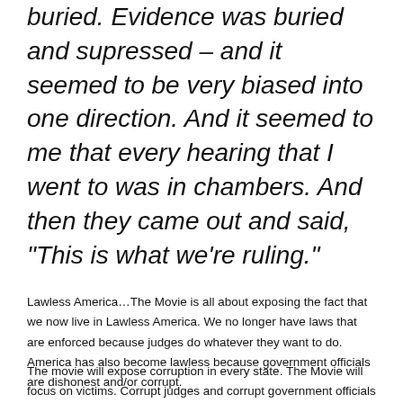heard in the courtroom. They were buried. Evidence was buried and supressed – and it seemed to be very biased into one direction. And it seemed to me that every hearing that I went to was in chambers. And then they came out and said, "This is what we're ruling."
Lawless America…The Movie is all about exposing the fact that we now live in Lawless America. We no longer have laws that are enforced because judges do whatever they want to do. America has also become lawless because government officials are dishonest and/or corrupt.
The movie will expose corruption in every state. The Movie will focus on victims. Corrupt judges and corrupt government officials will be